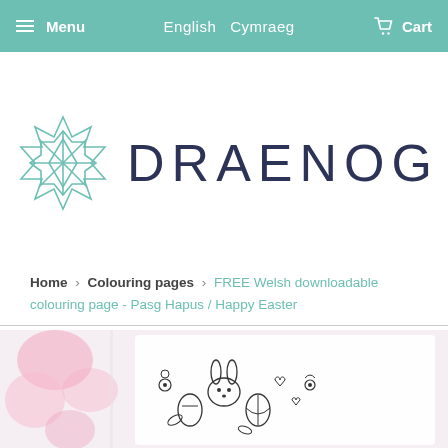Menu   English  Cymraeg   Cart
[Figure (logo): Draenog logo: teal geometric star/polygon outline on the left, and the word DRAENOG in large dark navy thin-weight letters on the right]
Home › Colouring pages › FREE Welsh downloadable colouring page - Pasg Hapus / Happy Easter
[Figure (photo): Partial photo of a colouring page featuring Easter themed line art with a bunny, eggs, flowers and hearts, alongside pink watercolour paint swatches]